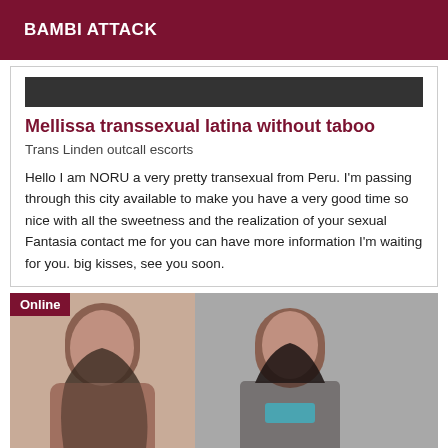BAMBI ATTACK
Mellissa transsexual latina without taboo
Trans Linden outcall escorts
Hello I am NORU a very pretty transexual from Peru. I'm passing through this city available to make you have a very good time so nice with all the sweetness and the realization of your sexual Fantasia contact me for you can have more information I'm waiting for you. big kisses, see you soon.
[Figure (photo): Two photos of a woman: left photo shows a woman with dark curly hair, right photo shows a woman with dark straight hair wearing a teal scarf. An 'Online' badge appears in the top left corner.]